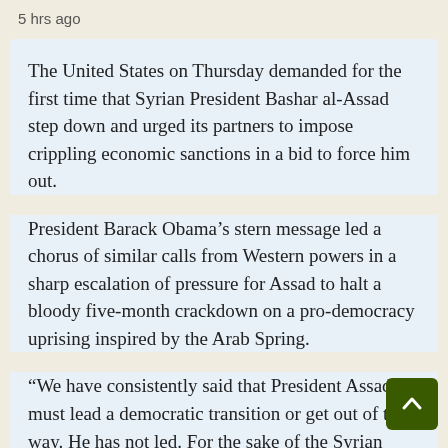5 hrs ago
The United States on Thursday demanded for the first time that Syrian President Bashar al-Assad step down and urged its partners to impose crippling economic sanctions in a bid to force him out.
President Barack Obama’s stern message led a chorus of similar calls from Western powers in a sharp escalation of pressure for Assad to halt a bloody five-month crackdown on a pro-democracy uprising inspired by the Arab Spring.
“We have consistently said that President Assad must lead a democratic transition or get out of the way. He has not led. For the sake of the Syrian people, the time has come for President Assad to step aside,” Obama said.